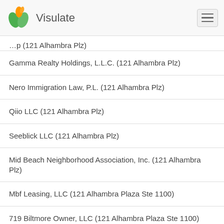Visulate
Gamma Realty Holdings, L.L.C. (121 Alhambra Plz)
Nero Immigration Law, P.L. (121 Alhambra Plz)
Qiio LLC (121 Alhambra Plz)
Seeblick LLC (121 Alhambra Plz)
Mid Beach Neighborhood Association, Inc. (121 Alhambra Plz)
Mbf Leasing, LLC (121 Alhambra Plaza Ste 1100)
719 Biltmore Owner, LLC (121 Alhambra Plaza Ste 1100)
719 Biltmore Ventures, LLC (121 Alhambra Plaza Ste 1100)
The Impac Fund, Inc. (121 Alhambra Plaza Ste 1100)